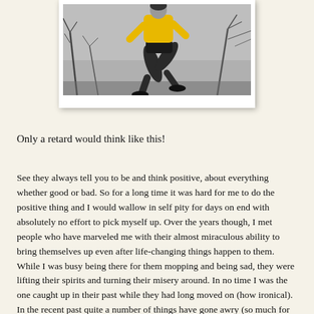[Figure (photo): Black and white photo of a person jumping/running with a yellow top, with bare trees in the background]
Only a retard would think like this!
See they always tell you to be and think positive, about everything whether good or bad. So for a long time it was hard for me to do the positive thing and I would wallow in self pity for days on end with absolutely no effort to pick myself up. Over the years though, I met people who have marveled me with their almost miraculous ability to bring themselves up even after life-changing things happen to them. While I was busy being there for them mopping and being sad, they were lifting their spirits and turning their misery around. In no time I was the one caught up in their past while they had long moved on (how ironical). In the recent past quite a number of things have gone awry (so much for being a staunch control freak) and in the process shook a lot of things I have based my faith and basically my whole life on. Normally